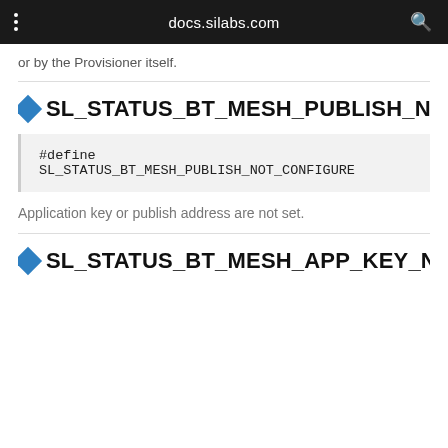docs.silabs.com
or by the Provisioner itself.
SL_STATUS_BT_MESH_PUBLISH_N
#define SL_STATUS_BT_MESH_PUBLISH_NOT_CONFIGURE
Application key or publish address are not set.
SL_STATUS_BT_MESH_APP_KEY_N